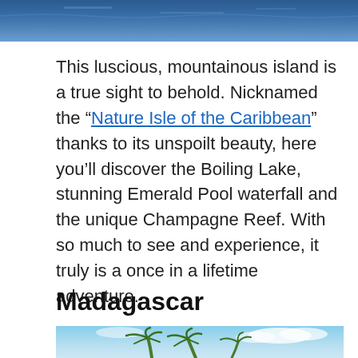[Figure (photo): Top portion of a blue ocean/sea scene, cropped at the top of the page]
This luscious, mountainous island is a true sight to behold. Nicknamed the “Nature Isle of the Caribbean” thanks to its unspoilt beauty, here you’ll discover the Boiling Lake, stunning Emerald Pool waterfall and the unique Champagne Reef. With so much to see and experience, it truly is a once in a lifetime adventure.
Madagascar
[Figure (photo): Bottom portion showing palm trees against a blue sky with clouds, partially cropped]